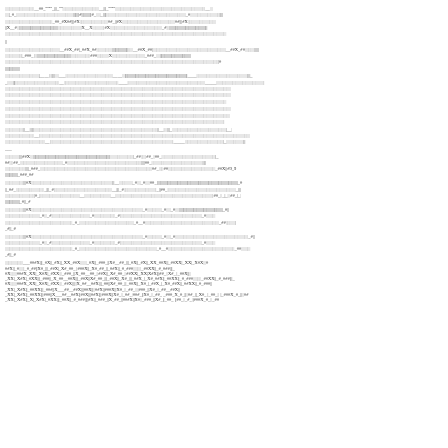dense scientific/mathematical text body paragraph with inline formulas and symbols, representing a journal article page with equations, references, and technical notation throughout multiple paragraphs and sections
Additional body text with mathematical derivations and physical explanations continuing across multiple lines with inline equations and cross-references
Continued dense technical paragraphs with subscripts, superscripts, Greek letters, and mathematical operators embedded in prose text
Final paragraph sections with footnote markers and dense notation